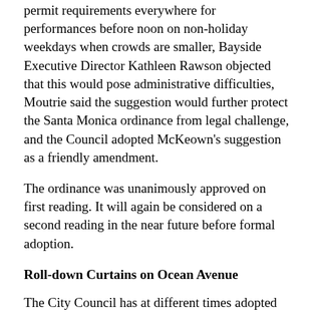permit requirements everywhere for performances before noon on non-holiday weekdays when crowds are smaller, Bayside Executive Director Kathleen Rawson objected that this would pose administrative difficulties, Moutrie said the suggestion would further protect the Santa Monica ordinance from legal challenge, and the Council adopted McKeown's suggestion as a friendly amendment.
The ordinance was unanimously approved on first reading. It will again be considered on a second reading in the near future before formal adoption.
Roll-down Curtains on Ocean Avenue
The City Council has at different times adopted separate Outdoor Dining Standards for Ocean Avenue, Broadway and Santa Monica Boulevard, and the Third Street Promenade, each governing restaurants' use of sidewalk areas under City license agreements. (Some restaurants have legal easements for sidewalk tables, the terms of